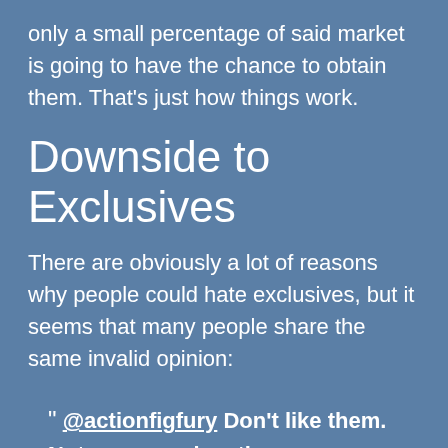only a small percentage of said market is going to have the chance to obtain them. That's just how things work.
Downside to Exclusives
There are obviously a lot of reasons why people could hate exclusives, but it seems that many people share the same invalid opinion:
“ @actionfigfury Don’t like them. Not everyone has the money or ability to go to all Cons so they miss out then can’t